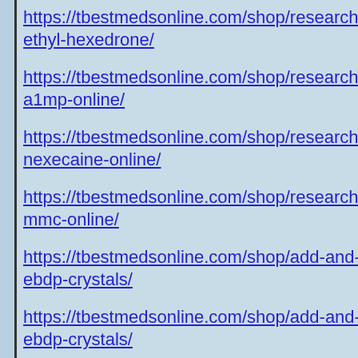https://tbestmedsonline.com/shop/research-chemical/buy-ethyl-hexedrone/
https://tbestmedsonline.com/shop/research-chemical/buy-a1mp-online/
https://tbestmedsonline.com/shop/research-chemical/buy-nexecaine-online/
https://tbestmedsonline.com/shop/research-chemical/buy-mmc-online/
https://tbestmedsonline.com/shop/add-and-adhd/buy-bk-ebdp-crystals/
https://tbestmedsonline.com/shop/add-and-adhd/buy-bk-ebdp-crystals/
https://tbestmedsonline.com/shop/research-chemical/buy-synthacaine-online/
https://tbestmedsonline.com/shop/research-chemical/buy-fea-online/
https://tbestmedsonline.com/shop/research-chemical/buy-